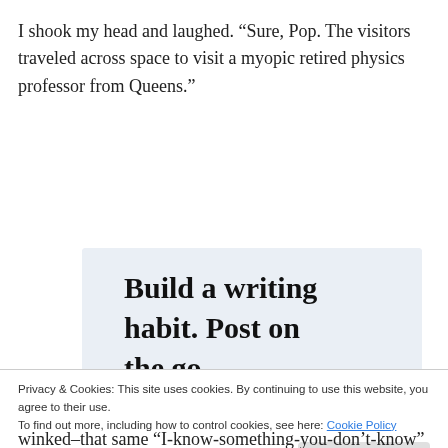I shook my head and laughed. “Sure, Pop. The visitors traveled across space to visit a myopic retired physics professor from Queens.”
[Figure (other): WordPress promotional banner with text 'Build a writing habit. Post on the go.' and 'GET THE APP' with WordPress logo icon]
Privacy & Cookies: This site uses cookies. By continuing to use this website, you agree to their use.
To find out more, including how to control cookies, see here: Cookie Policy
Close and accept
winked–that same “I-know-something-you-don’t-know”